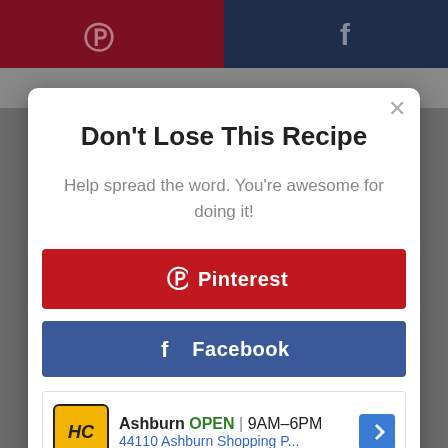[Figure (screenshot): Social share modal popup on a recipe website with Pinterest and Facebook share buttons, and an advertisement below.]
Don't Lose This Recipe
Help spread the word. You're awesome for doing it!
Pinterest
Facebook
[Figure (other): Advertisement: Ashburn OPEN 9AM–6PM, 44110 Ashburn Shopping P...]